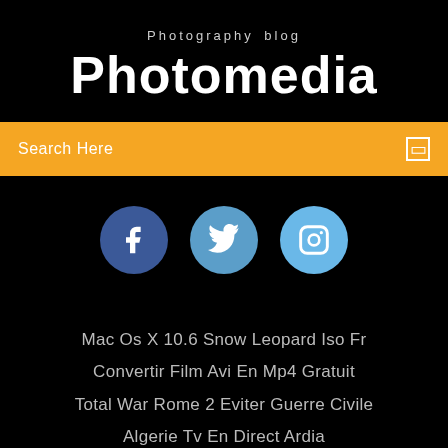Photography blog
Photomedia
Search Here
[Figure (infographic): Three social media circular icon buttons: Facebook (dark blue), Twitter (medium blue), Instagram (light blue)]
Mac Os X 10.6 Snow Leopard Iso Fr
Convertir Film Avi En Mp4 Gratuit
Total War Rome 2 Eviter Guerre Civile
Algerie Tv En Direct Ardia